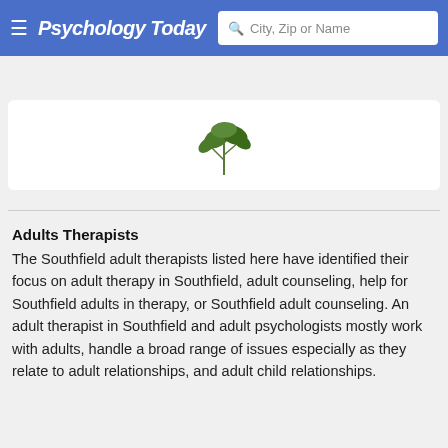Psychology Today — City, Zip or Name search bar
Adults Therapists in Southfield, MI
[Figure (photo): Partially visible therapist profile card with a decorative plant/leaf illustration at the bottom]
Adults Therapists
The Southfield adult therapists listed here have identified their focus on adult therapy in Southfield, adult counseling, help for Southfield adults in therapy, or Southfield adult counseling. An adult therapist in Southfield and adult psychologists mostly work with adults, handle a broad range of issues especially as they relate to adult relationships, and adult child relationships.